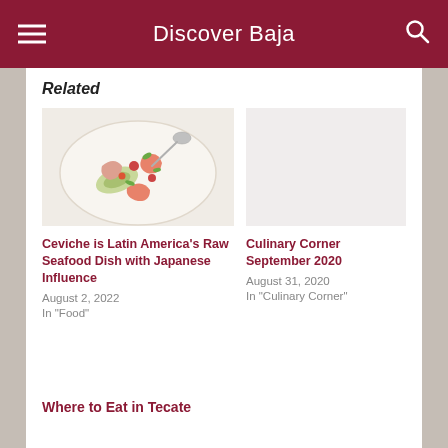Discover Baja
Related
[Figure (photo): A plate of ceviche with shrimp, avocado, and vegetables, with a spoon resting on the plate.]
Ceviche is Latin America's Raw Seafood Dish with Japanese Influence
August 2, 2022
In "Food"
Culinary Corner September 2020
August 31, 2020
In "Culinary Corner"
Where to Eat in Tecate